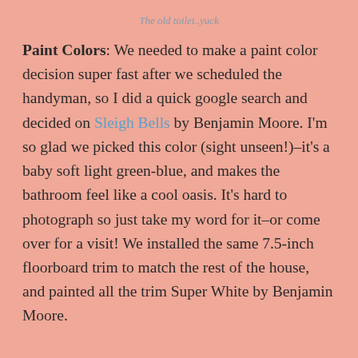The old toilet..yuck
Paint Colors: We needed to make a paint color decision super fast after we scheduled the handyman, so I did a quick google search and decided on Sleigh Bells by Benjamin Moore. I'm so glad we picked this color (sight unseen!)–it's a baby soft light green-blue, and makes the bathroom feel like a cool oasis. It's hard to photograph so just take my word for it–or come over for a visit! We installed the same 7.5-inch floorboard trim to match the rest of the house, and painted all the trim Super White by Benjamin Moore.
We plan to refinish all the doors in the springtime when the weather is warmer and we can strip the